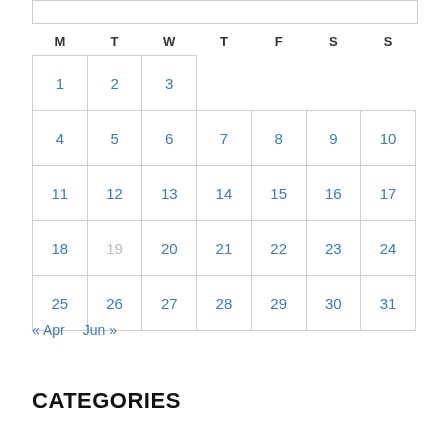| M | T | W | T | F | S | S |
| --- | --- | --- | --- | --- | --- | --- |
| 1 | 2 | 3 |  |  |  |  |
| 4 | 5 | 6 | 7 | 8 | 9 | 10 |
| 11 | 12 | 13 | 14 | 15 | 16 | 17 |
| 18 | 19 | 20 | 21 | 22 | 23 | 24 |
| 25 | 26 | 27 | 28 | 29 | 30 | 31 |
« Apr   Jun »
CATEGORIES